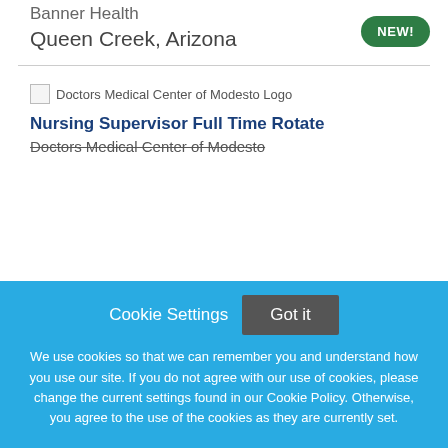Banner Health
Queen Creek, Arizona
[Figure (other): NEW! badge - green rounded pill badge with white text]
[Figure (logo): Doctors Medical Center of Modesto Logo (broken image)]
Nursing Supervisor Full Time Rotate
Doctors Medical Center of Modesto
Cookie Settings  Got it  We use cookies so that we can remember you and understand how you use our site. If you do not agree with our use of cookies, please change the current settings found in our Cookie Policy. Otherwise, you agree to the use of the cookies as they are currently set.